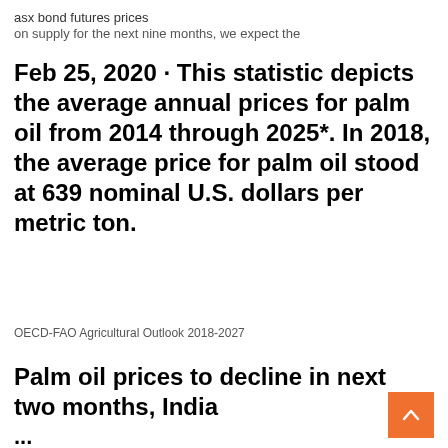asx bond futures prices
on supply for the next nine months, we expect the
Feb 25, 2020 · This statistic depicts the average annual prices for palm oil from 2014 through 2025*. In 2018, the average price for palm oil stood at 639 nominal U.S. dollars per metric ton.
OECD-FAO Agricultural Outlook 2018-2027
Palm oil prices to decline in next two months, India
...